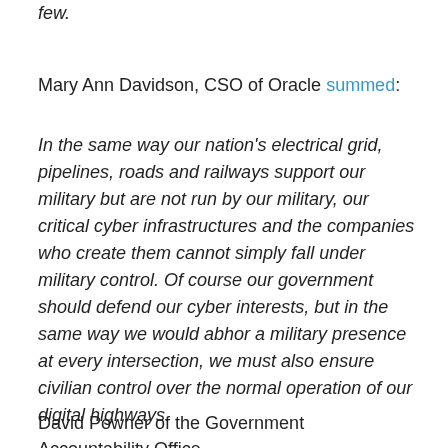few.
Mary Ann Davidson, CSO of Oracle summed:
In the same way our nation's electrical grid, pipelines, roads and railways support our military but are not run by our military, our critical cyber infrastructures and the companies who create them cannot simply fall under military control. Of course our government should defend our cyber interests, but in the same way we would abhor a military presence at every intersection, we must also ensure civilian control over the normal operation of our digital highways.
David Powner of the Government Accountability Office